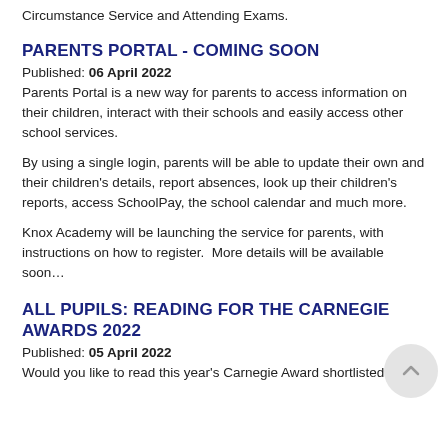Circumstance Service and Attending Exams.
PARENTS PORTAL - COMING SOON
Published: 06 April 2022
Parents Portal is a new way for parents to access information on their children, interact with their schools and easily access other school services.
By using a single login, parents will be able to update their own and their children's details, report absences, look up their children's reports, access SchoolPay, the school calendar and much more.
Knox Academy will be launching the service for parents, with instructions on how to register.  More details will be available soon…
ALL PUPILS: READING FOR THE CARNEGIE AWARDS 2022
Published: 05 April 2022
Would you like to read this year's Carnegie Award shortlisted